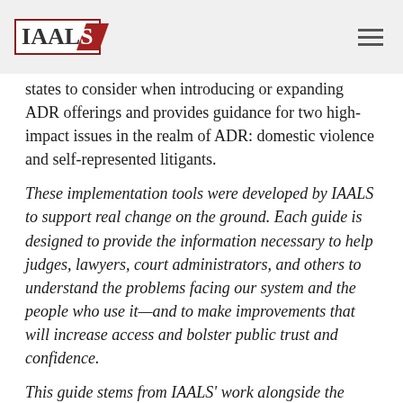IAALS
states to consider when introducing or expanding ADR offerings and provides guidance for two high-impact issues in the realm of ADR: domestic violence and self-represented litigants.
These implementation tools were developed by IAALS to support real change on the ground. Each guide is designed to provide the information necessary to help judges, lawyers, court administrators, and others to understand the problems facing our system and the people who use it—and to make improvements that will increase access and bolster public trust and confidence.
This guide stems from IAALS' work alongside the